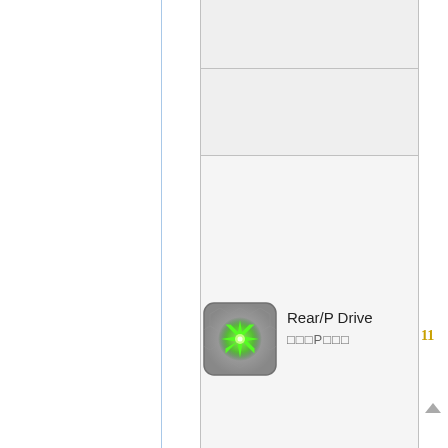[Figure (screenshot): A UI screenshot showing a grid/table layout with a game or application interface. A hexagonal-patterned icon with a green glowing star/asterisk symbol is shown in a row. To the right of the icon is text 'Rear/P Drive' with Japanese/Unicode characters below it. A gold number '11' badge appears to the right. A grey upward arrow is at the bottom right. The layout has vertical and horizontal grid lines dividing the space into cells with light grey backgrounds.]